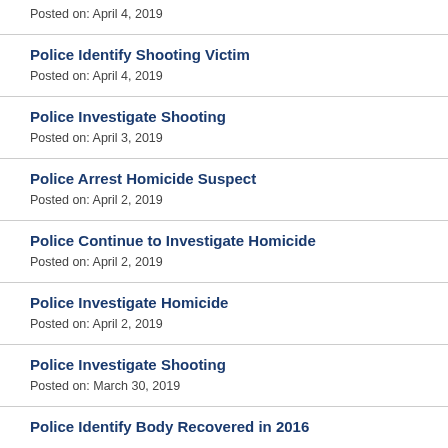Posted on: April 4, 2019
Police Identify Shooting Victim
Posted on: April 4, 2019
Police Investigate Shooting
Posted on: April 3, 2019
Police Arrest Homicide Suspect
Posted on: April 2, 2019
Police Continue to Investigate Homicide
Posted on: April 2, 2019
Police Investigate Homicide
Posted on: April 2, 2019
Police Investigate Shooting
Posted on: March 30, 2019
Police Identify Body Recovered in 2016